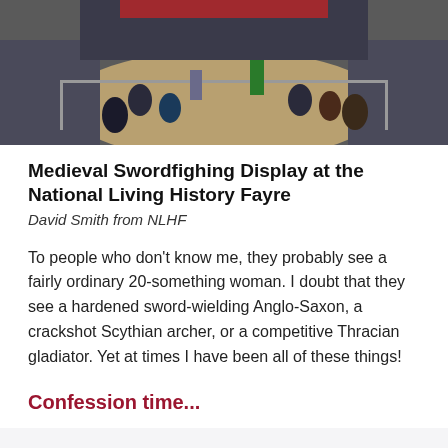[Figure (photo): Aerial view of a medieval swordfighting display at the National Living History Fayre, with fighters in medieval costumes in a sandy arena surrounded by spectators behind metal barriers.]
Medieval Swordfighing Display at the National Living History Fayre
David Smith from NLHF
To people who don't know me, they probably see a fairly ordinary 20-something woman. I doubt that they see a hardened sword-wielding Anglo-Saxon, a crackshot Scythian archer, or a competitive Thracian gladiator. Yet at times I have been all of these things!
Confession time...